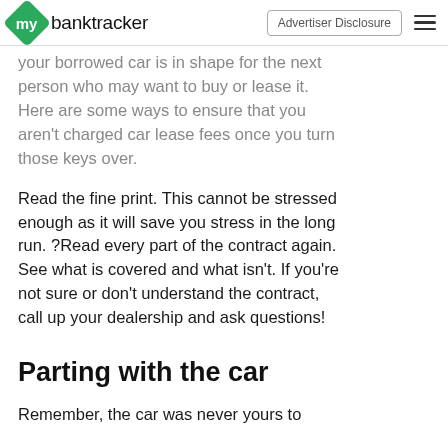mybanktracker | Advertiser Disclosure
your borrowed car is in shape for the next person who may want to buy or lease it. Here are some ways to ensure that you aren't charged car lease fees once you turn those keys over.
Read the fine print. This cannot be stressed enough as it will save you stress in the long run. ?Read every part of the contract again. See what is covered and what isn't. If you're not sure or don't understand the contract, call up your dealership and ask questions!
Parting with the car
Remember, the car was never yours to